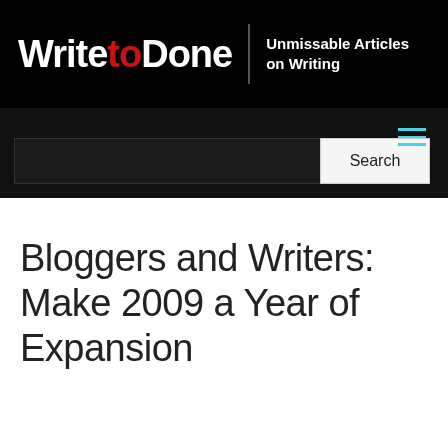WritetoDone | Unmissable Articles on Writing
[Figure (screenshot): Navigation bar with hamburger menu icon and search box with Search button]
Bloggers and Writers: Make 2009 a Year of Expansion